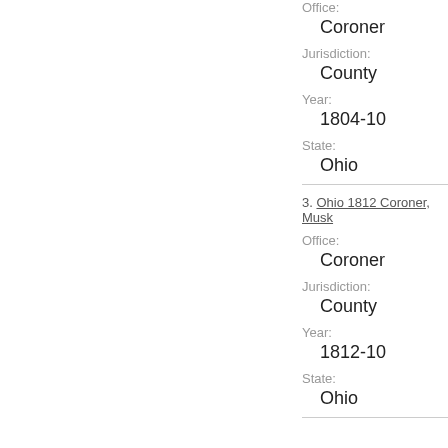Office:
Coroner
Jurisdiction:
County
Year:
1804-10
State:
Ohio
3. Ohio 1812 Coroner, Musk
Office:
Coroner
Jurisdiction:
County
Year:
1812-10
State:
Ohio